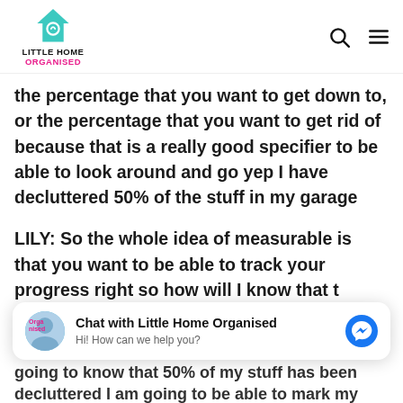Little Home Organised
the percentage that you want to get down to, or the percentage that you want to get rid of because that is a really good specifier to be able to look around and go yep I have decluttered 50% of the stuff in my garage
LILY: So the whole idea of measurable is that you want to be able to track your progress right so how will I know that this is accomplished as Bonnie was just saying going to know that 50% of my stuff has been decluttered I am going to be able to mark my
[Figure (other): Chat widget overlay: Chat with Little Home Organised - Hi! How can we help you? with avatar photo and Messenger icon]